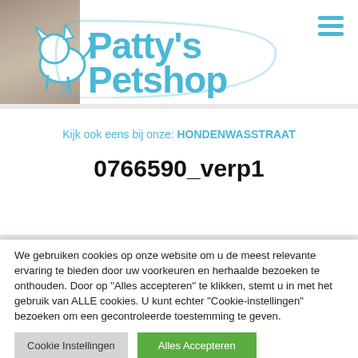[Figure (logo): Patty's Petshop logo with dog photo background and blue text logo with cat/dog icon]
Kijk ook eens bij onze: HONDENWASSTRAAT
0766590_verp1
We gebruiken cookies op onze website om u de meest relevante ervaring te bieden door uw voorkeuren en herhaalde bezoeken te onthouden. Door op "Alles accepteren" te klikken, stemt u in met het gebruik van ALLE cookies. U kunt echter "Cookie-instellingen" bezoeken om een gecontroleerde toestemming te geven.
Cookie Instellingen
Alles Accepteren